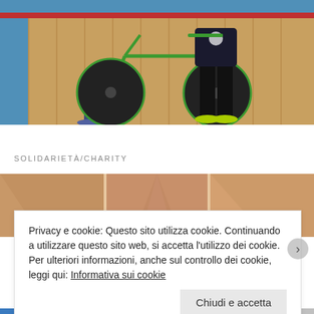[Figure (photo): Two people with a green track bicycle with solid disc wheels on a wooden velodrome track floor, with blue and red track markings visible]
SOLIDARIETÀ/CHARITY
[Figure (photo): Close-up of hands or arms touching/joined together]
Privacy e cookie: Questo sito utilizza cookie. Continuando a utilizzare questo sito web, si accetta l'utilizzo dei cookie. Per ulteriori informazioni, anche sul controllo dei cookie, leggi qui: Informativa sui cookie
Chiudi e accetta